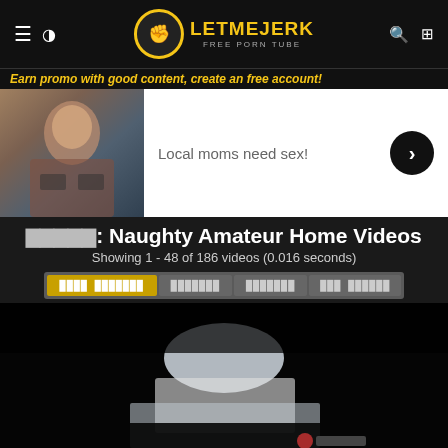LetMeJerk - Free Porn Tube
Earn promo with good content, create an free account!
[Figure (photo): Advertisement banner with woman photo and text 'Local moms need sex!']
█████: Naughty Amateur Home Videos
Showing 1 - 48 of 186 videos (0.016 seconds)
Filter tabs: ████ ███████  ███████  ███████  ███ ██████
[Figure (photo): Video thumbnail preview - dark background with partial figure visible]